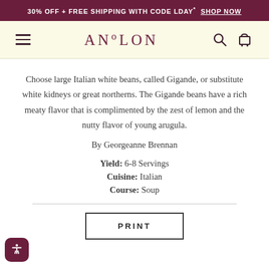30% OFF + FREE SHIPPING WITH CODE LDAY* SHOP NOW
[Figure (logo): Anolon brand logo with hamburger menu, search and cart icons on light yellow navigation bar]
Choose large Italian white beans, called Gigande, or substitute white kidneys or great northerns. The Gigande beans have a rich meaty flavor that is complimented by the zest of lemon and the nutty flavor of young arugula.
By Georgeanne Brennan
Yield: 6-8 Servings
Cuisine: Italian
Course: Soup
PRINT